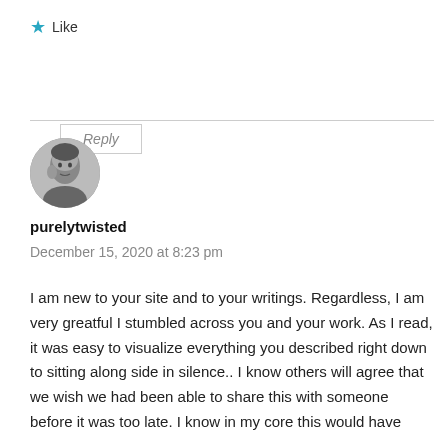[Figure (other): Star icon for Like button]
Like
Reply
[Figure (photo): Circular avatar photo of a woman in black and white, hand near face]
purelytwisted
December 15, 2020 at 8:23 pm
I am new to your site and to your writings. Regardless, I am very greatful I stumbled across you and your work. As I read, it was easy to visualize everything you described right down to sitting along side in silence.. I know others will agree that we wish we had been able to share this with someone before it was too late. I know in my core this would have